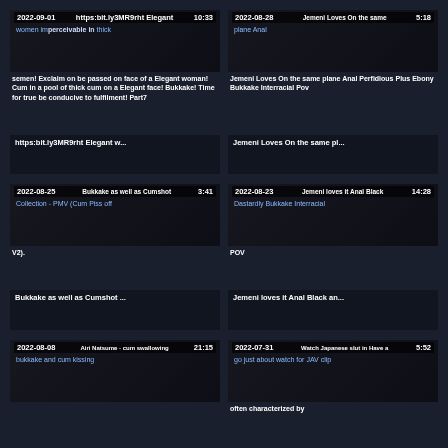[Figure (screenshot): Video thumbnail grid showing 6 adult video listings with dates, durations, titles and descriptions on dark background]
2022-09-01 | https:bit.ly3MR9rht Elegant | 10:33 | women imperceivable in thick semen! Exclaim on be passed on face of a Elegant woman! Cum in a pool of thick cum on a Elegant face! Bukkake! Time for true be conducive to fulfilment! Part7
2022-08-28 | Jemeni Loves On the same plane Anal Perfidious Plus Ebony Bukkake Interracial Pov | 5:18
https:bit.ly3MR9rht Elegant w...
Jemeni Loves On the same pl...
2022-08-25 | Bukkake as well as Cumshot | 3:41 | Collection - PMV (Cum Piss off V2).
2022-08-23 | Jemeni loves it Anal Black and Dastardly Bukkake Interracial POV | 14:28
Bukkake as well as Cumshot ...
Jemeni loves it Anal Black an...
2022-08-08 | Airi Natsume - cum swallowing bukkake and cum kissing | 21:15
2022-07-31 | Watch Japanese slut in Have a go just about watch for JAV clip often characterized by | 5:52